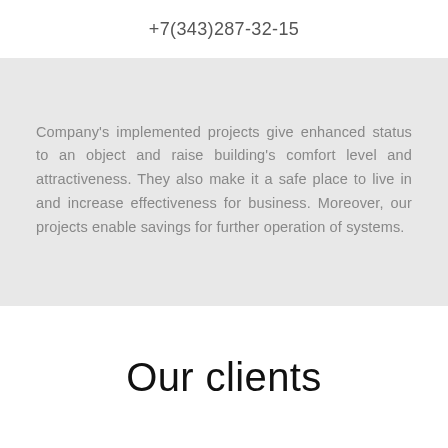+7(343)287-32-15
Company's implemented projects give enhanced status to an object and raise building's comfort level and attractiveness. They also make it a safe place to live in and increase effectiveness for business. Moreover, our projects enable savings for further operation of systems.
Our clients